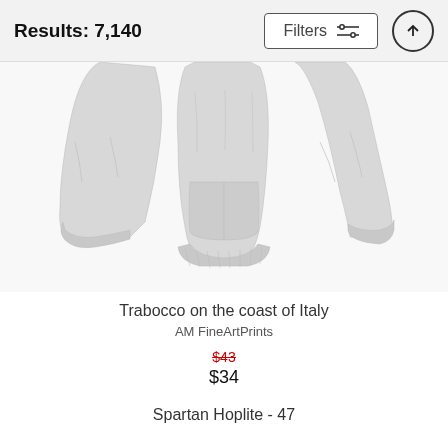Results: 7,140
[Figure (photo): Three views of a gray heather pullover hoodie/sweatshirt laid flat on a white background, showing front, back, and side/sleeve views]
Trabocco on the coast of Italy
AM FineArtPrints
$43 (crossed out, original price) $34 (sale price)
Spartan Hoplite - 47